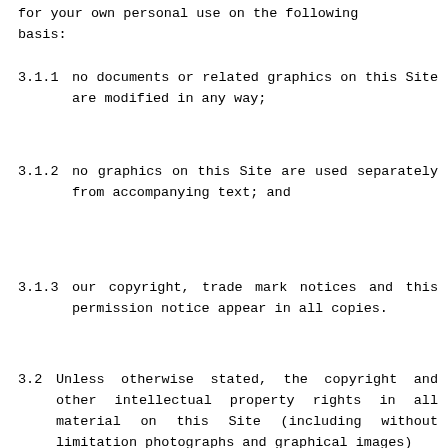for your own personal use on the following basis:
3.1.1  no documents or related graphics on this Site are modified in any way;
3.1.2  no graphics on this Site are used separately from accompanying text; and
3.1.3  our copyright, trade mark notices and this permission notice appear in all copies.
3.2  Unless otherwise stated, the copyright and other intellectual property rights in all material on this Site (including without limitation photographs and graphical images)